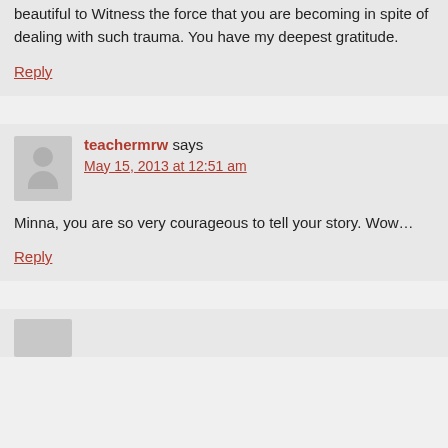beautiful to Witness the force that you are becoming in spite of dealing with such trauma. You have my deepest gratitude.
Reply
teachermrw says
May 15, 2013 at 12:51 am
Minna, you are so very courageous to tell your story. Wow…
Reply